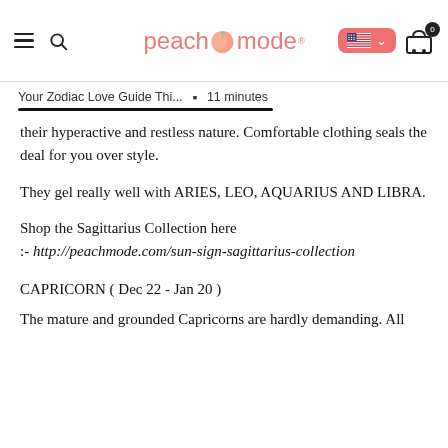peachmode header with navigation, logo, flag selector, cart
Your Zodiac Love Guide Thi...  •  11 minutes
their hyperactive and restless nature. Comfortable clothing seals the deal for you over style.
They gel really well with ARIES, LEO, AQUARIUS AND LIBRA.
Shop the Sagittarius Collection here :- http://peachmode.com/sun-sign-sagittarius-collection
CAPRICORN ( Dec 22 - Jan 20 )
The mature and grounded Capricorns are hardly demanding. All